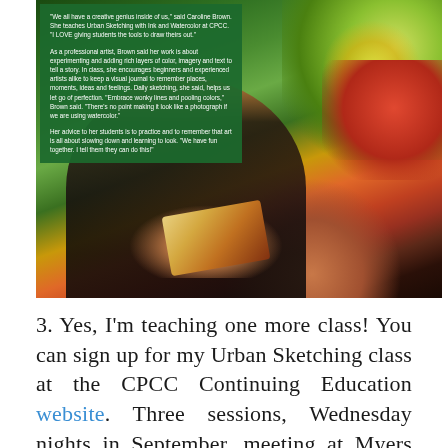[Figure (photo): A person in a floral dress sketching in a notebook outdoors, surrounded by colorful plants and flowers. A green overlay box with white text covers the upper-left portion of the photo.]
"We all have a creative genius inside of us," said Caroline Brown. She teaches Urban Sketching with Ink and Watercolor at CPCC. "I LOVE giving students the tools to draw theirs out."

As a professional artist, Brown said her work is about experimenting and adding rich layers of color, imagery and text to tell a story. In class, she encourages beginners and experienced artists alike to keep a visual journal to remember places, moments, ideas and feelings. Daily sketching, she said, helps us let go of perfection. "Embrace wonky lines and pooling colors," Brown said. "There's no point making it look like a photograph if we are using watercolor."

Her advice to her students is to practice and to remember that art is all about slowing down and learning to look. "We have fun together. I tell them they can do this!"
3. Yes, I'm teaching one more class! You can sign up for my Urban Sketching class at the CPCC Continuing Education website. Three sessions, Wednesday nights in September, meeting at Myers Park High School. Join me!